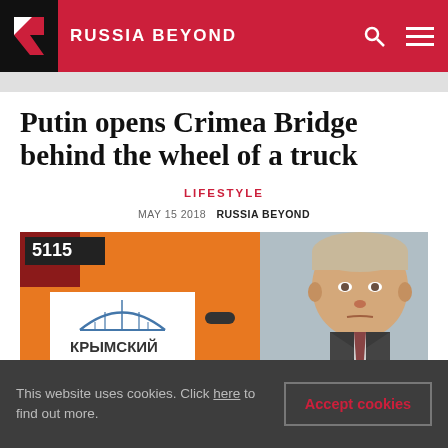RUSSIA BEYOND
Putin opens Crimea Bridge behind the wheel of a truck
LIFESTYLE
MAY 15 2018  RUSSIA BEYOND
[Figure (photo): Left side: orange truck cab with number 5115 and a logo showing a bridge arch with Cyrillic text КРЫМСКИЙ МОСТ (Crimea Bridge). Right side: close-up of Vladimir Putin's face against a grey background.]
This website uses cookies. Click here to find out more.